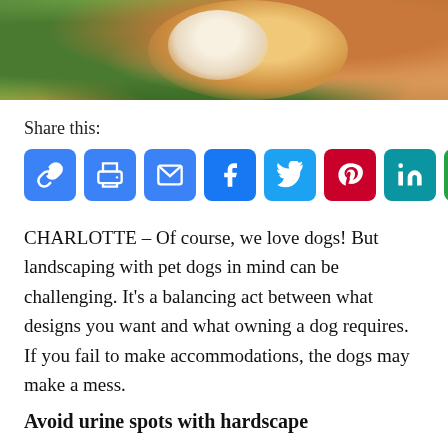[Figure (photo): Partial view of a dog (brown and white fur) on green grass, cropped photo strip at top of page]
Share this:
[Figure (infographic): Row of social sharing icon buttons: Link, Print, Email, Facebook, Twitter, Pinterest, LinkedIn, WhatsApp, More]
CHARLOTTE – Of course, we love dogs! But landscaping with pet dogs in mind can be challenging. It's a balancing act between what designs you want and what owning a dog requires. If you fail to make accommodations, the dogs may make a mess.
Avoid urine spots with hardscape